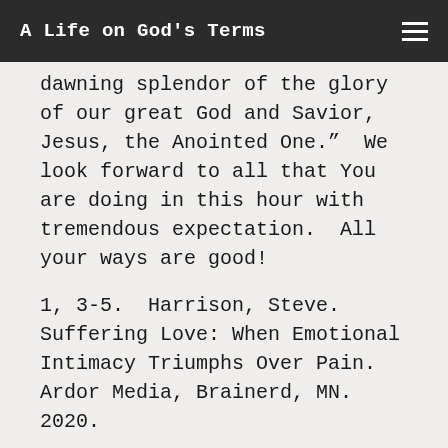A Life on God's Terms
dawning splendor of the glory of our great God and Savior, Jesus, the Anointed One."  We look forward to all that You are doing in this hour with tremendous expectation.  All your ways are good!
1, 3-5.  Harrison, Steve. Suffering Love: When Emotional Intimacy Triumphs Over Pain. Ardor Media, Brainerd, MN. 2020.
2. Wilkerson, David. God is Faithful. Chosen Books.